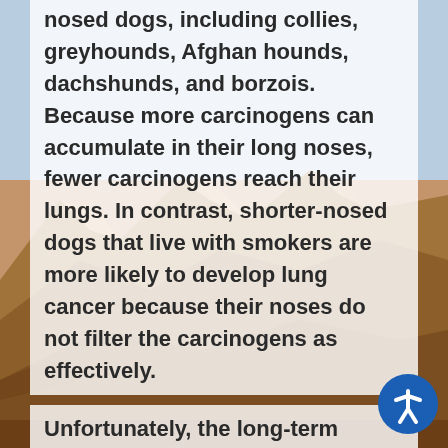nosed dogs, including collies, greyhounds, Afghan hounds, dachshunds, and borzois. Because more carcinogens can accumulate in their long noses, fewer carcinogens reach their lungs. In contrast, shorter-nosed dogs that live with smokers are more likely to develop lung cancer because their noses do not filter the carcinogens as effectively.
Unfortunately, the long-term survival rate for nasal cancer is low. Dogs that receive radiation treatment, the recommended treatment for nasal cancer, usually live an average eight to 19 months, according to the National Canine Cancer Foundation.
Exposure to smoke also increases the risk that your dog will develop asthma, bronchitis, or